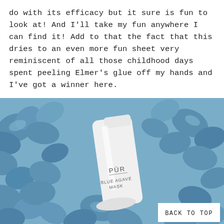do with its efficacy but it sure is fun to look at! And I'll take my fun anywhere I can find it! Add to that the fact that this dries to an even more fun sheet very reminiscent of all those childhood days spent peeling Elmer's glue off my hands and I've got a winner here.
The mask itself isn't just fun to play--it does help your skin. With refreshing ingredients like green tea and ginseng, it works to revive dull skin, leaving it feeling more vibrant and soft to the touch.
[Figure (photo): Photo of a white tube of PÜR Blue Agave Mask product lying on a background of blue flower petals or hydrangea blooms. A white rectangle with 'BACK TO TOP' text appears in the bottom right corner.]